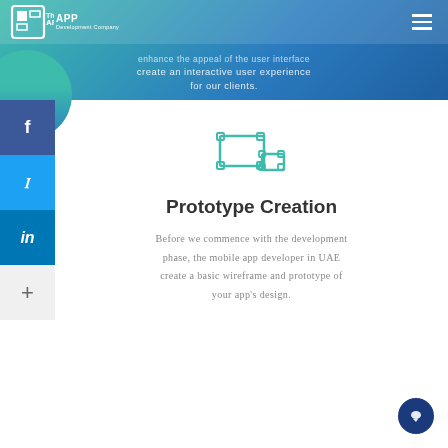The APP Development Company
enhance the appeal of the user interface create an interactive user experience for our clients.
[Figure (illustration): Prototype/wireframe icon: two rectangular frames connected by nodes, teal/blue color, representing UI design]
Prototype Creation
Before we commence with the development phase, the mobile app developer in UAE create a basic wireframe and prototype of your app's design.